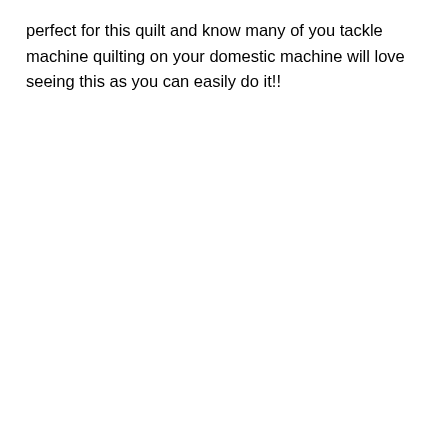perfect for this quilt and know many of you tackle machine quilting on your domestic machine will love seeing this as you can easily do it!!